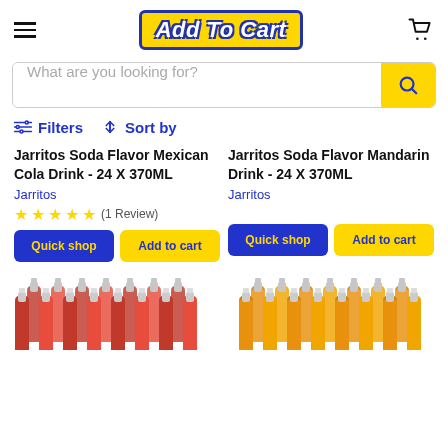Add To Cart — e-commerce product listing page
What are you looking for?
Filters   Sort by
Jarritos Soda Flavor Mexican Cola Drink - 24 X 370ML
Jarritos
★★★★★ (1 Review)
Jarritos Soda Flavor Mandarin Drink - 24 X 370ML
Jarritos
[Figure (photo): Grid of red Jarritos soda bottles (24 pack)]
[Figure (photo): Grid of orange Jarritos soda bottles (24 pack)]